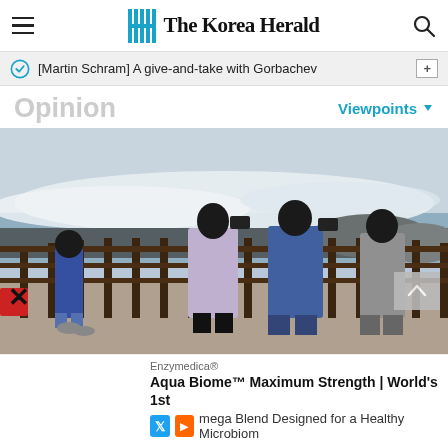[Figure (logo): The Korea Herald newspaper logo with hamburger menu icon on left and search icon on right]
[Martin Schram] A give-and-take with Gorbachev
Opinion
Viewpoints
[Figure (photo): People standing at a coastal railing photographing large waves crashing on rocky shore]
Enzymedica® Aqua Biome™ Maximum Strength | World's 1st mega Blend Designed for a Healthy Microbiome